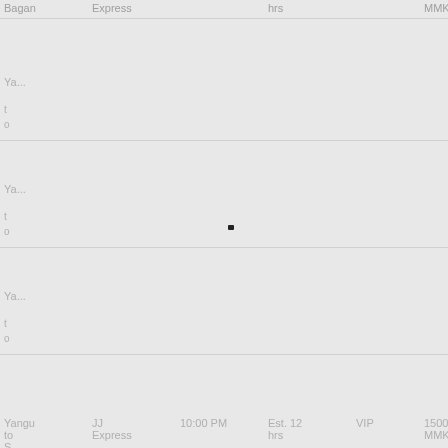| Destination | Bus Type | Departure | Duration | Class | Price (MMK) | Arrival Station |
| --- | --- | --- | --- | --- | --- | --- |
| Bagan | Express |  | hrs |  | MMK | Bus Station |
| Yangon |  |  |  |  |  | Aungming Station |
| Yangon |  |  |  |  |  | Aungming Station |
| Yangon |  |  |  |  |  | Aungming Station |
| Yangon to ... | JJ Express | 10:00 PM | Est. 12 hrs | VIP | 15000 | Aungming Bus Station |